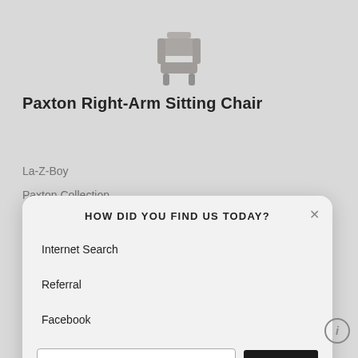[Figure (photo): Partial view of a chair product image at top of page, cropped]
Paxton Right-Arm Sitting Chair
La-Z-Boy
Paxton Collection
[Figure (screenshot): Modal dialog overlay asking 'HOW DID YOU FIND US TODAY?' with options: Internet Search, Referral, Facebook, and an 'Other (please specify)' text input with a SUBMIT button]
HOW DID YOU FIND US TODAY?
Internet Search
Referral
Facebook